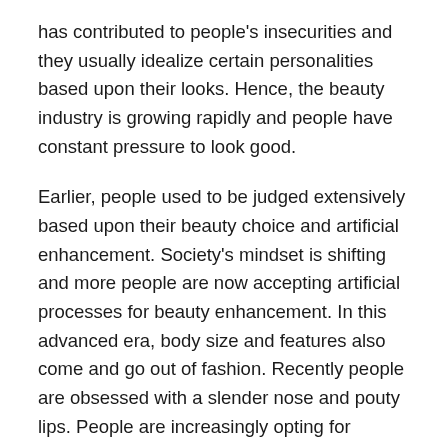has contributed to people's insecurities and they usually idealize certain personalities based upon their looks. Hence, the beauty industry is growing rapidly and people have constant pressure to look good.
Earlier, people used to be judged extensively based upon their beauty choice and artificial enhancement. Society's mindset is shifting and more people are now accepting artificial processes for beauty enhancement. In this advanced era, body size and features also come and go out of fashion. Recently people are obsessed with a slender nose and pouty lips. People are increasingly opting for artificial and aesthetic treatments to get their desired look. However, the term surgery can be quite intimidating for some people. Hence, medical and aestheticians are determining non-surgical treatments such as Non Surgical Nose Jobs and non-surgical eye lifts for the comfort of people.